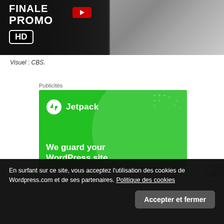[Figure (screenshot): Promo image showing FINALE PROMO HD badge with man in suit on dark background]
Visuel : CBS.
Publicités
[Figure (screenshot): Jetpack WordPress advertisement banner - green background with Jetpack logo and text 'We guard your WordPress site.']
Publicités
En surfant sur ce site, vous acceptez l'utilisation des cookies de Wordpress.com et de ses partenaires. Politique des cookies
Accepter et fermer